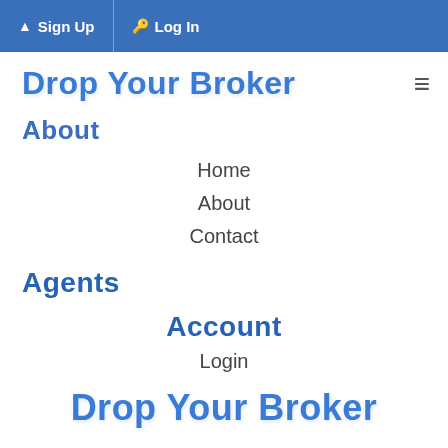Sign Up  Log In
Drop Your Broker
About
Home
About
Contact
Agents
Account
Login
Drop Your Broker